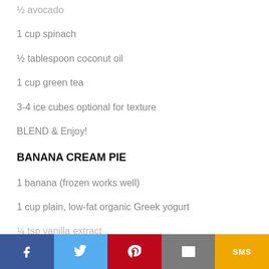½ avocado
1 cup spinach
½ tablespoon coconut oil
1 cup green tea
3-4 ice cubes optional for texture
BLEND & Enjoy!
BANANA CREAM PIE
1 banana (frozen works well)
1 cup plain, low-fat organic Greek yogurt
¼ tsp vanilla extract (partial, cut off)
[Figure (other): Social sharing bar with Facebook, Twitter, Pinterest, Email, and SMS buttons]